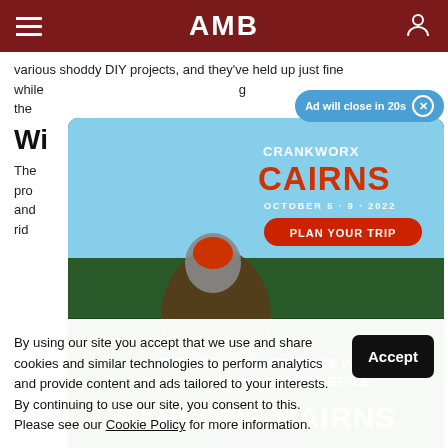AMB
various shoddy DIY projects, and they've held up just fine while ... the ...
Wh...
The ... ing pro... er and rid...
[Figure (other): Crankworx Cairns advertisement. Mountain biker performing trick. Text: CRANKWORX CAIRNS OCTOBER 5-9 2022, PLAN YOUR TRIP, THE ULTIMATE EXPERIENCE IN MOUNTAIN BIKING - CAIRNS STYLE, EXPLORE CAIRNS. Ad close button: Ad will close in 20s.]
By using our site you accept that we use and share cookies and similar technologies to perform analytics and provide content and ads tailored to your interests. By continuing to use our site, you consent to this. Please see our Cookie Policy for more information.